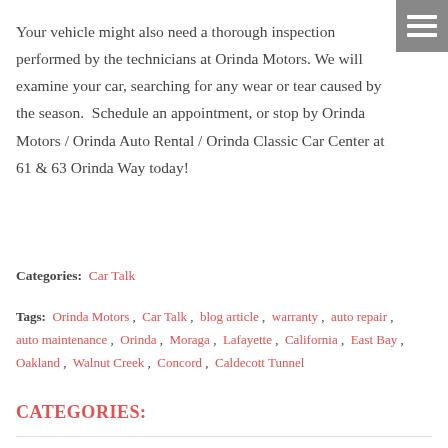Your vehicle might also need a thorough inspection performed by the technicians at Orinda Motors. We will examine your car, searching for any wear or tear caused by the season.  Schedule an appointment, or stop by Orinda Motors / Orinda Auto Rental / Orinda Classic Car Center at 61 & 63 Orinda Way today!
Categories:  Car Talk
Tags:  Orinda Motors , Car Talk , blog article , warranty , auto repair , auto maintenance , Orinda , Moraga , Lafayette , California , East Bay , Oakland , Walnut Creek , Concord , Caldecott Tunnel
CATEGORIES: